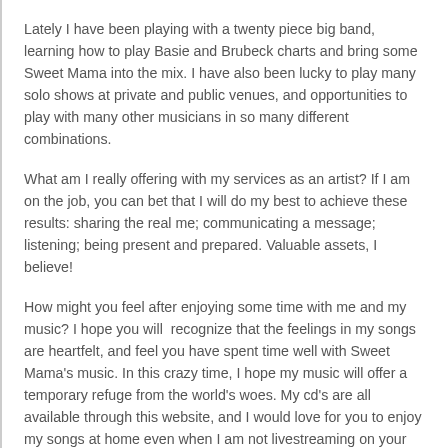Lately I have been playing with a twenty piece big band, learning how to play Basie and Brubeck charts and bring some Sweet Mama into the mix.  I have also been lucky to play many solo shows at private and public venues, and opportunities to play with many other musicians in so many different combinations.
What am I really offering with my services as an artist?  If I am on the job, you can bet that I will do my best to achieve these results:  sharing the real me; communicating a message; listening; being present and prepared. Valuable assets, I believe!
How might you feel after enjoying some time with me and my music?  I hope you will  recognize that the feelings in my songs are heartfelt, and feel you have spent time well with Sweet Mama's music. In this crazy time, I hope my music will offer a temporary refuge from the world's woes. My cd's are all available through this website, and I would love for you to enjoy my songs at home even when I am not livestreaming on your computer. One more thing:  the songs I write are a picture of respect and love for myself and for other people, and I hope I can make a connection between my heart and yours through my music.